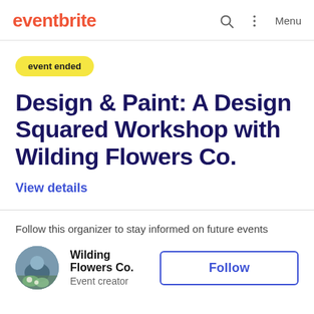eventbrite — Menu
event ended
Design & Paint: A Design Squared Workshop with Wilding Flowers Co.
View details
Follow this organizer to stay informed on future events
Wilding Flowers Co. Event creator
Follow